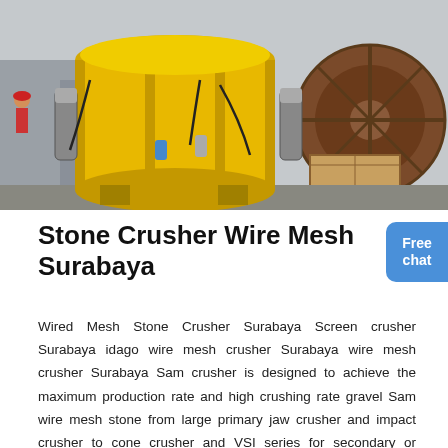[Figure (photo): Photograph of a large yellow cone/stone crusher machine outdoors, with industrial equipment and a large brown wheel/drum visible in the background. Workers and machinery visible.]
Stone Crusher Wire Mesh Surabaya
Wired Mesh Stone Crusher Surabaya Screen crusher Surabaya idago wire mesh crusher Surabaya wire mesh crusher Surabaya Sam crusher is designed to achieve the maximum production rate and high crushing rate gravel Sam wire mesh stone from large primary jaw crusher and impact crusher to cone crusher and VSI series for secondary or tertiary use.